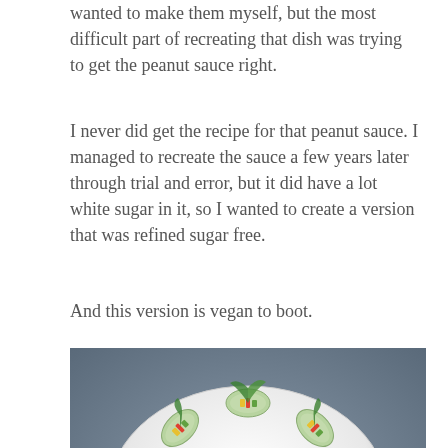wanted to make them myself, but the most difficult part of recreating that dish was trying to get the peanut sauce right.
I never did get the recipe for that peanut sauce. I managed to recreate the sauce a few years later through trial and error, but it did have a lot white sugar in it, so I wanted to create a version that was refined sugar free.
And this version is vegan to boot.
[Figure (photo): A plate of fresh spring rolls arranged in a circle around a bowl of peanut dipping sauce. The rolls are wrapped in translucent rice paper and filled with colorful vegetables including lettuce, yellow and red peppers, mango, and other fresh ingredients. The bowl of sauce in the center contains a brown peanut sauce.]